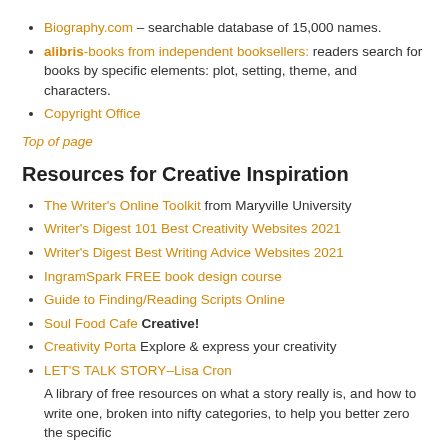Biography.com – searchable database of 15,000 names.
alibris-books from independent booksellers: readers search for books by specific elements: plot, setting, theme, and characters.
Copyright Office
Top of page
Resources for Creative Inspiration
The Writer's Online Toolkit from Maryville University
Writer's Digest 101 Best Creativity Websites 2021
Writer's Digest Best Writing Advice Websites 2021
IngramSpark FREE book design course
Guide to Finding/Reading Scripts Online
Soul Food Cafe Creative!
Creativity Porta Explore & express your creativity
LET'S TALK STORY–Lisa Cron
A library of free resources on what a story really is, and how to write one, broken into nifty categories, to help you better zero the specific